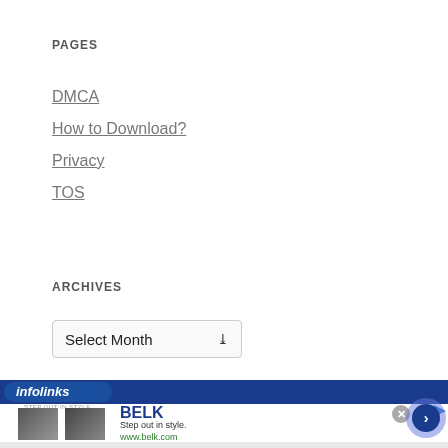PAGES
DMCA
How to Download?
Privacy
TOS
ARCHIVES
Select Month
[Figure (screenshot): Infolinks advertisement banner with Belk ad showing step out in style promotion]